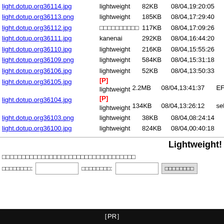light.dotup.org36114.jpg  lightweight  82KB  08/04,19:20:05  riko.j
light.dotup.org36113.png  lightweight  185KB  08/04,17:29:40  kurur
light.dotup.org36112.jpg  [Japanese chars]  117KB  08/04,17:09:26  IMG_
light.dotup.org36111.jpg  kanenai  292KB  08/04,16:44:20  1E996
light.dotup.org36110.jpg  lightweight  216KB  08/04,15:55:26  20220
light.dotup.org36109.png  lightweight  584KB  08/04,15:31:18  dotup
light.dotup.org36106.jpg  lightweight  52KB  08/04,13:50:33  [Japanese].jpg
light.dotup.org36105.jpg  [P] lightweight  2.2MB  08/04,13:41:37  EF55
light.dotup.org36104.jpg  [P] lightweight  134KB  08/04,13:26:12  sekiya
light.dotup.org36103.png  lightweight  38KB  08/04,08:24:14  F4094
light.dotup.org36100.jpg  lightweight  824KB  08/04,00:40:18  [Japanese]
Lightweight!
[Japanese characters - form title]
[Japanese label]: [input] [Japanese label]: [input] [Japanese button]
［PR］